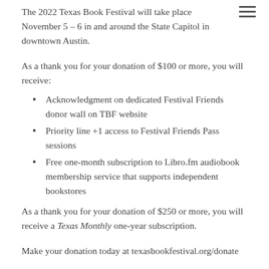The 2022 Texas Book Festival will take place November 5 – 6 in and around the State Capitol in downtown Austin.
As a thank you for your donation of $100 or more, you will receive:
Acknowledgment on dedicated Festival Friends donor wall on TBF website
Priority line +1 access to Festival Friends Pass sessions
Free one-month subscription to Libro.fm audiobook membership service that supports independent bookstores
As a thank you for your donation of $250 or more, you will receive a Texas Monthly one-year subscription.
Make your donation today at texasbookfestival.org/donate